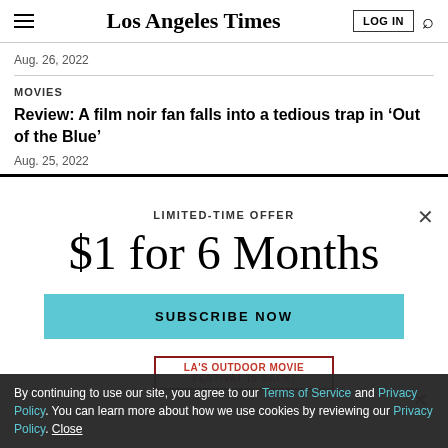Los Angeles Times
Aug. 26, 2022
MOVIES
Review: A film noir fan falls into a tedious trap in ‘Out of the Blue’
Aug. 25, 2022
LIMITED-TIME OFFER
$1 for 6 Months
SUBSCRIBE NOW
By continuing to use our site, you agree to our Terms of Service and Privacy Policy. You can learn more about how we use cookies by reviewing our Privacy Policy. Close
LA'S OUTDOOR MOVIE FESTIVAL IS BACK!